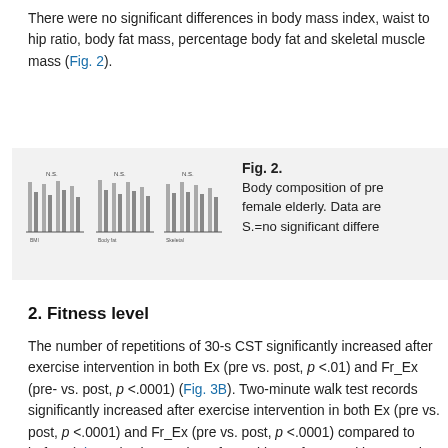There were no significant differences in body mass index, waist to hip ratio, body fat mass, percentage body fat and skeletal muscle mass (Fig. 2).
[Figure (other): Bar charts showing body composition of pre female elderly patients (partially visible, low resolution image showing multiple grouped bar chart panels labeled as BMI, body fat, and skeletal muscle measurements)]
Fig. 2. Body composition of pre female elderly. Data are S.=no significant differe...
2. Fitness level
The number of repetitions of 30-s CST significantly increased after exercise intervention in both Ex (pre vs. post, p <.01) and Fr_Ex (pre- vs. post, p <.0001) (Fig. 3B). Two-minute walk test records significantly increased after exercise intervention in both Ex (pre vs. post, p <.0001) and Fr_Ex (pre vs. post, p <.0001) compared to before (Fig. 3D). The number of repetitions of arm curl increased after exercise intervention in both Ex (pre vs. post, p <.0001) and Fr_Ex (pre vs. post, p <.0001) compared to before exercise intervention (Fig. 3E). In the RGT, chair stretch test, back scratch test there was no interaction